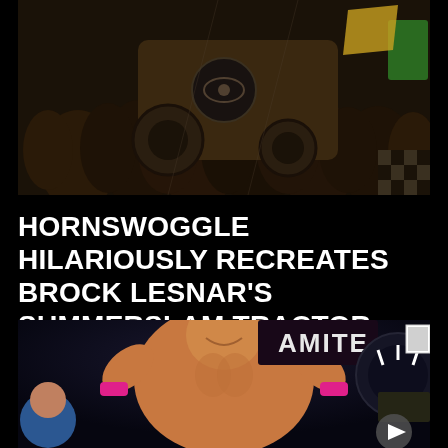[Figure (photo): A crowd scene at a wrestling/entertainment event, with a large tractor visible in the background, colorful banners and crowd members visible.]
HORNSWOGGLE HILARIOUSLY RECREATES BROCK LESNAR'S SUMMERSLAM TRACTOR SPOT
[Figure (photo): A shirtless muscular male wrestler with pink wristbands smiling and gesturing with thumbs up, on a wrestling stage with 'AMITE' text visible in background.]